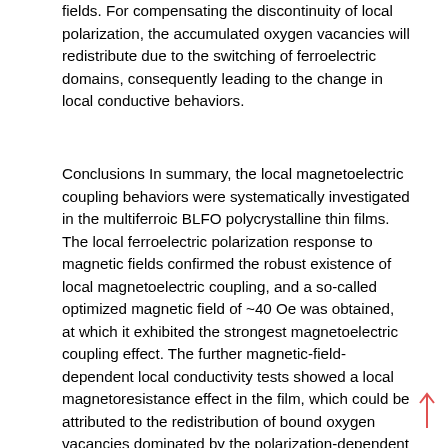fields. For compensating the discontinuity of local polarization, the accumulated oxygen vacancies will redistribute due to the switching of ferroelectric domains, consequently leading to the change in local conductive behaviors.
Conclusions In summary, the local magnetoelectric coupling behaviors were systematically investigated in the multiferroic BLFO polycrystalline thin films. The local ferroelectric polarization response to magnetic fields confirmed the robust existence of local magnetoelectric coupling, and a so-called optimized magnetic field of ~40 Oe was obtained, at which it exhibited the strongest magnetoelectric coupling effect. The further magnetic-field-dependent local conductivity tests showed a local magnetoresistance effect in the film, which could be attributed to the redistribution of bound oxygen vacancies dominated by the polarization-dependent local ferroelectric domain switching under external magnetic fields. This work provides a useful technique to characterize the local magnetoelectric coupling in multiferroic materials and is also beneficial for studying the intrinsic coupling of multiple ferroic orders in BiFeO3-based systems.